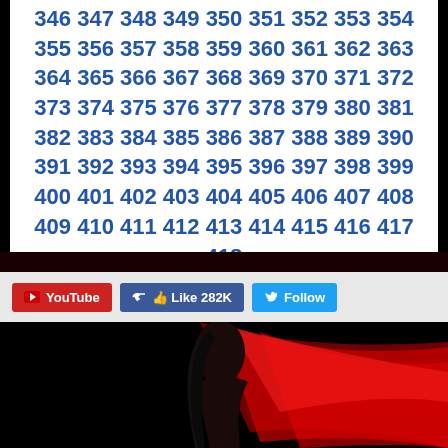346 347 348 349 350 351 352 353 354 355 356 357 358 359 360 361 362 363 364 365 366 367 368 369 370 371 372 373 374 375 376 377 378 379 380 381 382 383 384 385 386 387 388 389 390 391 392 393 394 395 396 397 398 399 400 401 402 403 404 405 406 407 408 409 410 411 412 413 414 415 416 417 418 419 420 421 422 423 424 425 426 427 428 429 430 ...
[Figure (screenshot): Social media buttons: YouTube (red), Like 282K (Facebook blue), Follow (Twitter blue)]
[Figure (photo): Woman with long dark hair against a black background with flowing red fabric/silk]